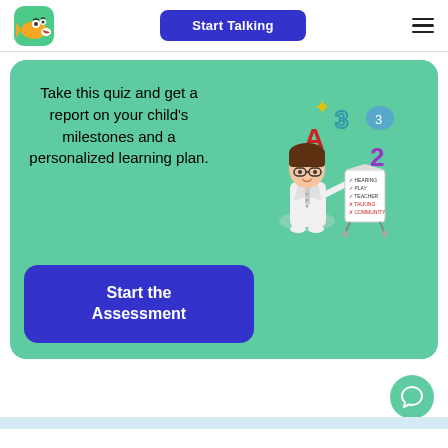[Figure (logo): Fish character logo with cartoon eyes in a green rounded square]
Start Talking
[Figure (illustration): Hamburger menu icon with three horizontal lines]
Take this quiz and get a report on your child's milestones and a personalized learning plan.
[Figure (illustration): Cartoon female doctor/teacher in white coat holding a pointer next to a checklist board, with floating numbers and letters (A, 3, 2) around her]
Start the Assessment